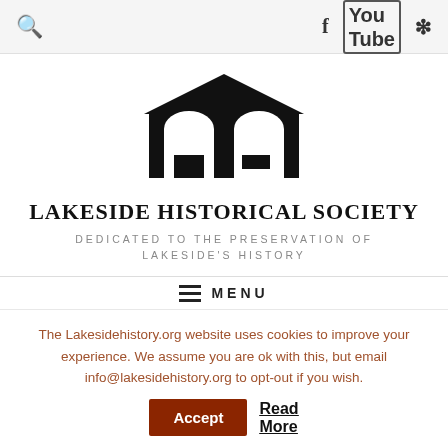Search | Facebook | YouTube | Yelp
[Figure (logo): Lakeside Historical Society building logo — black silhouette of a building with a triangular roof and two arched doorways]
LAKESIDE HISTORICAL SOCIETY
DEDICATED TO THE PRESERVATION OF LAKESIDE'S HISTORY
≡ MENU
The Lakesidehistory.org website uses cookies to improve your experience. We assume you are ok with this, but email info@lakesidehistory.org to opt-out if you wish.
Accept | Read More